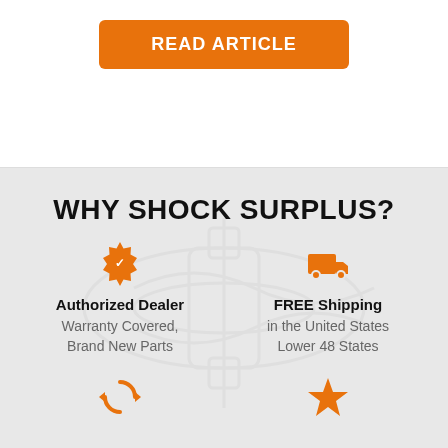[Figure (other): Orange 'READ ARTICLE' button with rounded corners]
WHY SHOCK SURPLUS?
[Figure (infographic): Orange badge/seal icon for Authorized Dealer]
Authorized Dealer
Warranty Covered, Brand New Parts
[Figure (infographic): Orange delivery truck icon for FREE Shipping]
FREE Shipping
in the United States Lower 48 States
[Figure (infographic): Orange circular arrows icon (partial, bottom of page)]
[Figure (infographic): Orange star icon (partial, bottom of page)]